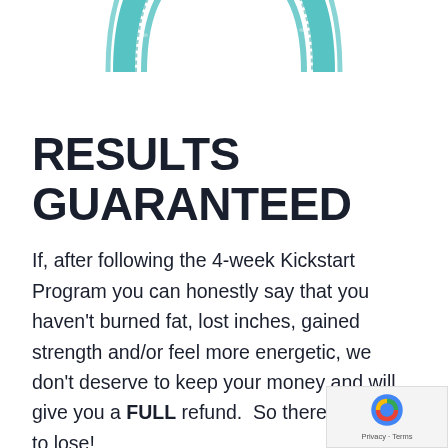[Figure (illustration): Partial teal/turquoise circular stamp or seal graphic cropped at the top of the page, showing the bottom half of a round stamp with distressed texture]
RESULTS GUARANTEED
If, after following the 4-week Kickstart Program you can honestly say that you haven't burned fat, lost inches, gained strength and/or feel more energetic, we don't deserve to keep your money and will give you a FULL refund.  So there's nothing to lose!